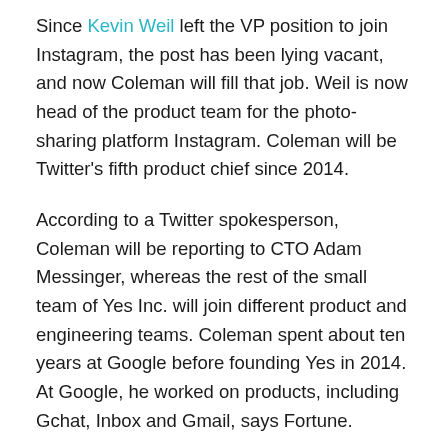Since Kevin Weil left the VP position to join Instagram, the post has been lying vacant, and now Coleman will fill that job. Weil is now head of the product team for the photo-sharing platform Instagram. Coleman will be Twitter's fifth product chief since 2014.
According to a Twitter spokesperson, Coleman will be reporting to CTO Adam Messinger, whereas the rest of the small team of Yes Inc. will join different product and engineering teams. Coleman spent about ten years at Google before founding Yes in 2014. At Google, he worked on products, including Gchat, Inbox and Gmail, says Fortune.
Twitter has been continually shuffling its executive ranks over the past 18 months. Ex-chief executive Dick Costolo stepped down from his position in June 2015, and it took several months for the company to appoint co-founder Jack Dorsey as